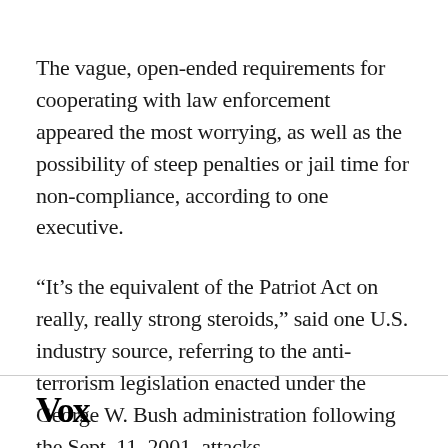The vague, open-ended requirements for cooperating with law enforcement appeared the most worrying, as well as the possibility of steep penalties or jail time for non-compliance, according to one executive.
“It’s the equivalent of the Patriot Act on really, really strong steroids,” said one U.S. industry source, referring to the anti-terrorism legislation enacted under the George W. Bush administration following the Sept. 11, 2001, attacks.
Vox